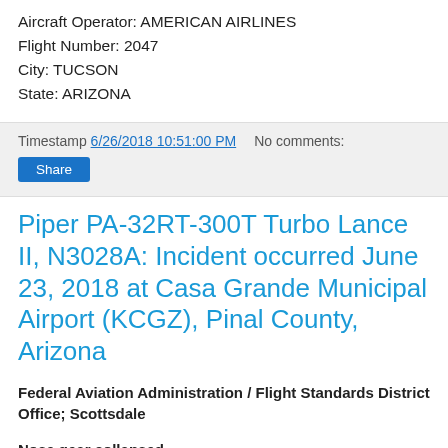Aircraft Operator: AMERICAN AIRLINES
Flight Number: 2047
City: TUCSON
State: ARIZONA
Timestamp 6/26/2018 10:51:00 PM   No comments:
Share
Piper PA-32RT-300T Turbo Lance II, N3028A: Incident occurred June 23, 2018 at Casa Grande Municipal Airport (KCGZ), Pinal County, Arizona
Federal Aviation Administration / Flight Standards District Office; Scottsdale
Nose gear collapsed.